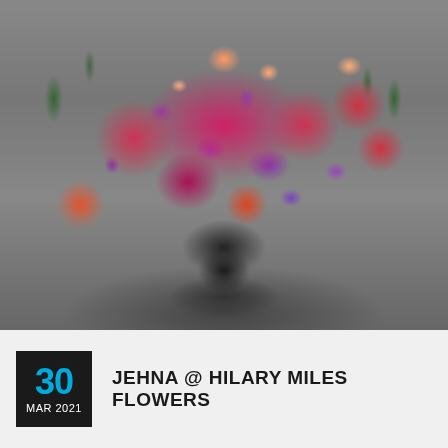[Figure (photo): A vibrant floral bouquet held by a person in a dark sleeve, featuring hot pink roses, orange roses, purple hyacinths, purple calla lilies, and various buds and greenery, photographed against a blurred grey background.]
30 MAR 2021 JEHNA @ HILARY MILES FLOWERS